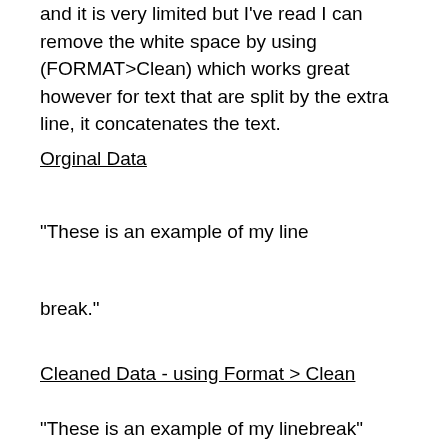and it is very limited but I've read I can remove the white space by using (FORMAT>Clean) which works great however for text that are split by the extra line, it concatenates the text.
Orginal Data
"These is an example of my line


break."
Cleaned Data - using Format > Clean
"These is an example of my linebreak"